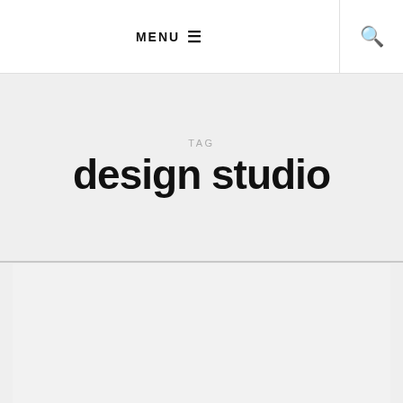MENU ☰
TAG
design studio
[Figure (other): Partial content card area at the bottom of the page, showing a light gray card with a thin horizontal divider line above it.]